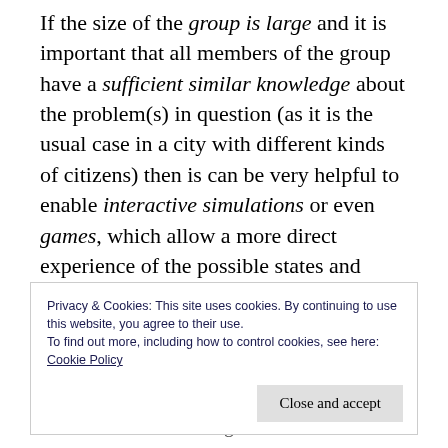If the size of the group is large and it is important that all members of the group have a sufficient similar knowledge about the problem(s) in question (as it is the usual case in a city with different kinds of citizens) then is can be very helpful to enable interactive simulations or even games, which allow a more direct experience of the possible states and changes. Furthermore, because the participants can act according to their individual reflections and goals the process
Privacy & Cookies: This site uses cookies. By continuing to use this website, you agree to their use.
To find out more, including how to control cookies, see here:
Cookie Policy
ng